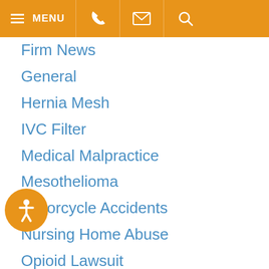MENU
Firm News
General
Hernia Mesh
IVC Filter
Medical Malpractice
Mesothelioma
Motorcycle Accidents
Nursing Home Abuse
Opioid Lawsuit
Personal Injury
Pool Accidents
Pradaxa Lawyer
Premises Liability
Prescription Drug Litigation
Products Liability